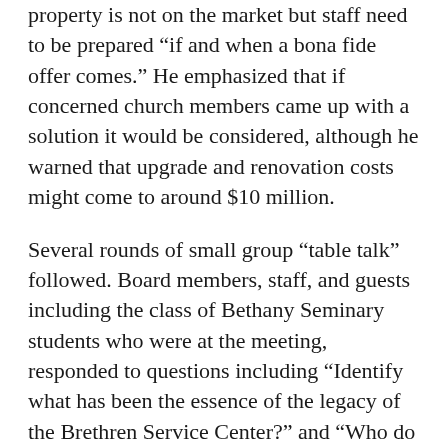property is not on the market but staff need to be prepared "if and when a bona fide offer comes." He emphasized that if concerned church members came up with a solution it would be considered, although he warned that upgrade and renovation costs might come to around $10 million.
Several rounds of small group “table talk” followed. Board members, staff, and guests including the class of Bethany Seminary students who were at the meeting, responded to questions including “Identify what has been the essence of the legacy of the Brethren Service Center?” and “Who do we need to engage in similar conversations to identify the holy memories to carry forward?”
The staff hope for a time for similar small group conversations during “table talk” time at the 2014 Annual Conference, Noffsinger said. In the next few months, the Inter Agency Forum and the Council of